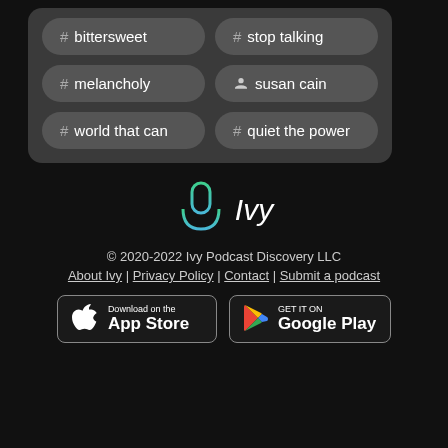# bittersweet
# stop talking
# melancholy
person susan cain
# world that can
# quiet the power
[Figure (logo): Ivy podcast app logo - microphone icon with gradient colors and 'Ivy' italic text]
© 2020-2022 Ivy Podcast Discovery LLC
About Ivy | Privacy Policy | Contact | Submit a podcast
[Figure (screenshot): Download on the App Store button]
[Figure (screenshot): GET IT ON Google Play button]